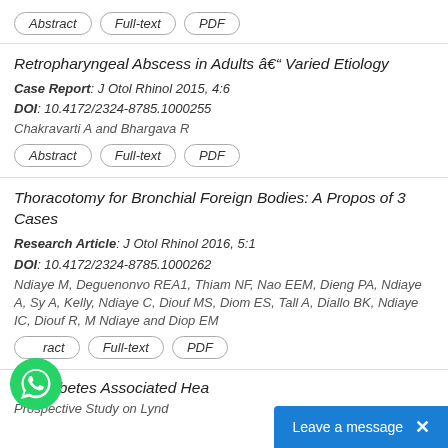Abstract | Full-text | PDF (buttons)
Retropharyngeal Abscess in Adults â Varied Etiology
Case Report: J Otol Rhinol 2015, 4:6
DOI: 10.4172/2324-8785.1000255
Chakravarti A and Bhargava R
Abstract | Full-text | PDF (buttons)
Thoracotomy for Bronchial Foreign Bodies: A Propos of 3 Cases
Research Article: J Otol Rhinol 2016, 5:1
DOI: 10.4172/2324-8785.1000262
Ndiaye M, Deguenonvo REA1, Thiam NF, Nao EEM, Dieng PA, Ndiaye A, Sy A, Kelly, Ndiaye C, Diouf MS, Diom ES, Tall A, Diallo BK, Ndiaye IC, Diouf R, M Ndiaye and Diop EM
Abstract | Full-text | PDF (buttons)
Prediabetes Associated Hea...
Prospective Study on Lynd...